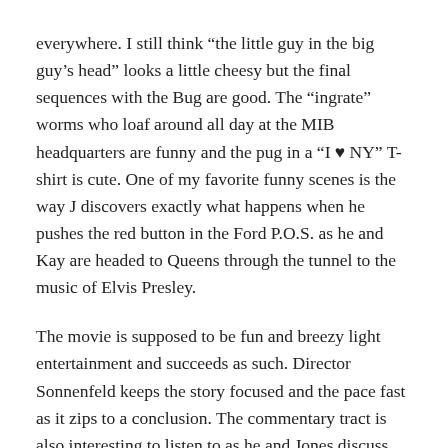everywhere. I still think “the little guy in the big guy’s head” looks a little cheesy but the final sequences with the Bug are good. The “ingrate” worms who loaf around all day at the MIB headquarters are funny and the pug in a “I ♥ NY” T-shirt is cute. One of my favorite funny scenes is the way J discovers exactly what happens when he pushes the red button in the Ford P.O.S. as he and Kay are headed to Queens through the tunnel to the music of Elvis Presley.
The movie is supposed to be fun and breezy light entertainment and succeeds as such. Director Sonnenfeld keeps the story focused and the pace fast as it zips to a conclusion. The commentary tract is also interesting to listen to as he and Jones discuss what went into making the movie and seemingly have a good time remembering the whole process. Are we just an intergalactic Aggie in an alien game of marbles? Who knows? But no one better give me a flashie thing as I’d probably forget to put on my Ray Bans